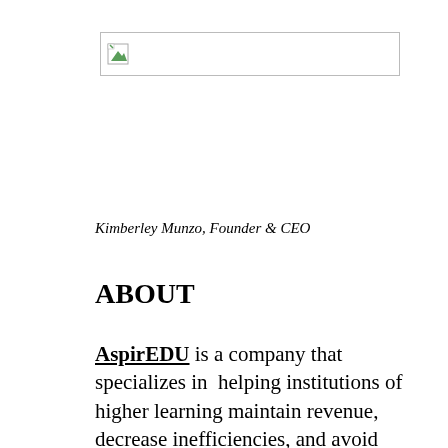[Figure (logo): Broken image placeholder with small green icon in a bordered rectangle]
Kimberley Munzo, Founder & CEO
ABOUT
AspirEDU is a company that specializes in  helping institutions of higher learning maintain revenue, decrease inefficiencies, and avoid accreditation challenges by